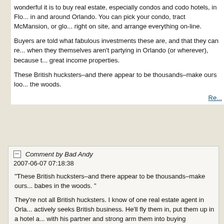"You should see the lavish British real estate web sites gushing on and on about how wonderful it is to buy real estate, especially condos and codo hotels, in Florida, especially in and around Orlando. You can pick your condo, tract McMansion, or glorified motel room right on site, and arrange everything on-line.
Buyers are told what fabulous investments these are, and that they can rent them out when they themselves aren't partying in Orlando (or wherever), because these are great income properties.
These British hucksters–and there appear to be thousands–make ours look like babes in the woods.
Re...
Comment by Bad Andy
2007-06-07 07:18:38
"These British hucksters–and there appear to be thousands–make ours look like babes in the woods."
They're not all British hucksters. I know of one real estate agent in Orlando that actively seeks British business. He'll fly them in, put them up in a hotel and then work with his partner and strong arm them into buying something that is almost never worth the value.
Repp...